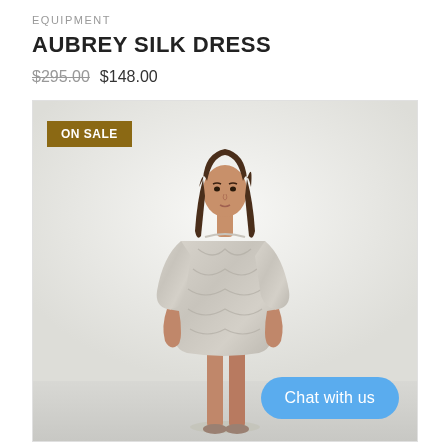EQUIPMENT
AUBREY SILK DRESS
$295.00  $148.00
[Figure (photo): A model wearing the Aubrey Silk Dress by Equipment. The dress is a short, loose-fitting shift dress with 3/4 sleeves in a light grey/cream snakeskin or abstract print. The model stands against a light background. An 'ON SALE' badge is visible in the top-left corner of the image. A 'Chat with us' button appears in the bottom-right corner.]